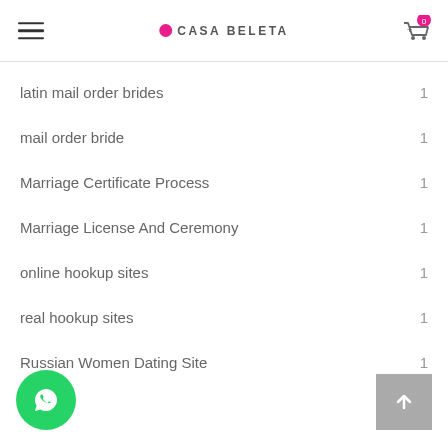CASA BELETA
latin mail order brides  1
mail order bride  1
Marriage Certificate Process  1
Marriage License And Ceremony  1
online hookup sites  1
real hookup sites  1
Russian Women Dating Site  1